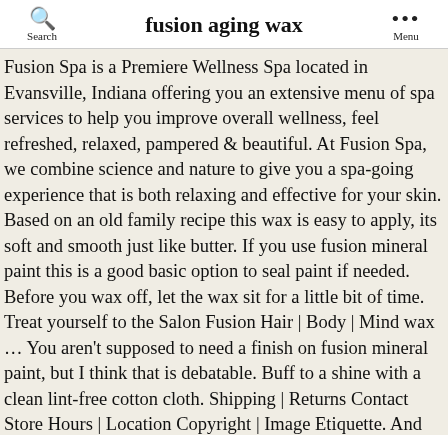fusion aging wax
Fusion Spa is a Premiere Wellness Spa located in Evansville, Indiana offering you an extensive menu of spa services to help you improve overall wellness, feel refreshed, relaxed, pampered & beautiful. At Fusion Spa, we combine science and nature to give you a spa-going experience that is both relaxing and effective for your skin. Based on an old family recipe this wax is easy to apply, its soft and smooth just like butter. If you use fusion mineral paint this is a good basic option to seal paint if needed. Before you wax off, let the wax sit for a little bit of time. Treat yourself to the Salon Fusion Hair | Body | Mind wax … You aren't supposed to need a finish on fusion mineral paint, but I think that is debatable. Buff to a shine with a clean lint-free cotton cloth. Shipping | Returns Contact Store Hours | Location Copyright | Image Etiquette. And almost no odor! Add to cart This fine museum quality wax is perfect f or an authentic aged finish on your painted piece of furniture. Very happy with it and it is easy to use